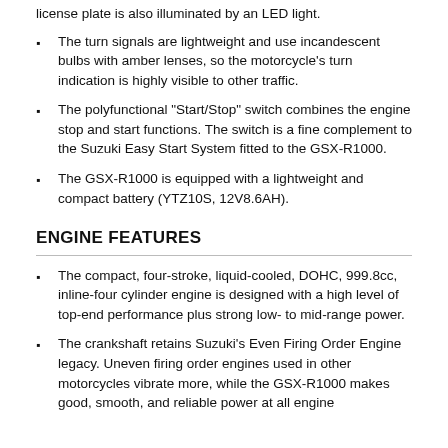license plate is also illuminated by an LED light.
The turn signals are lightweight and use incandescent bulbs with amber lenses, so the motorcycle's turn indication is highly visible to other traffic.
The polyfunctional "Start/Stop" switch combines the engine stop and start functions. The switch is a fine complement to the Suzuki Easy Start System fitted to the GSX-R1000.
The GSX-R1000 is equipped with a lightweight and compact battery (YTZ10S, 12V8.6AH).
ENGINE FEATURES
The compact, four-stroke, liquid-cooled, DOHC, 999.8cc, inline-four cylinder engine is designed with a high level of top-end performance plus strong low- to mid-range power.
The crankshaft retains Suzuki's Even Firing Order Engine legacy. Uneven firing order engines used in other motorcycles vibrate more, while the GSX-R1000 makes good, smooth, and reliable power at all engine...